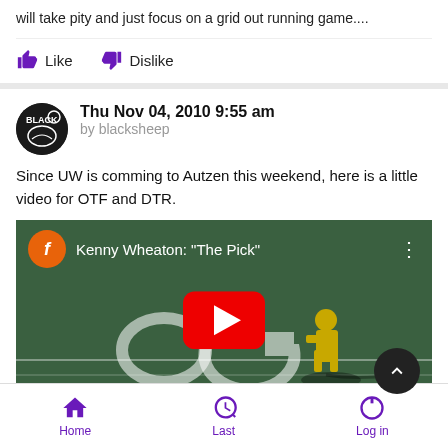will take pity and just focus on a grid out running game....
Like   Dislike
Thu Nov 04, 2010 9:55 am
by blacksheep
Since UW is comming to Autzen this weekend, here is a little video for OTF and DTR.
[Figure (screenshot): YouTube video thumbnail showing Kenny Wheaton: The Pick - football player on green field with YouTube play button overlay]
Home   Last   Log in